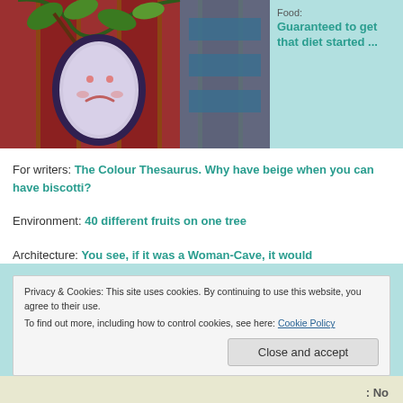[Figure (photo): Photo of a painted egg with a sad face hanging on a tree branch with green leaves, in front of a red wooden fence and blue striped background]
Food: Guaranteed to get that diet started ...
For writers: The Colour Thesaurus. Why have beige when you can have biscotti?
Environment: 40 different fruits on one tree
Architecture: You see, if it was a Woman-Cave, it would
Privacy & Cookies: This site uses cookies. By continuing to use this website, you agree to their use. To find out more, including how to control cookies, see here: Cookie Policy
Close and accept
: No